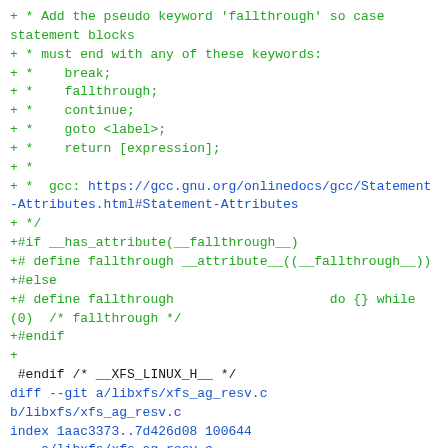+ * Add the pseudo keyword 'fallthrough' so case statement blocks
+ * must end with any of these keywords:
+ *    break;
+ *    fallthrough;
+ *    continue;
+ *    goto <label>;
+ *    return [expression];
+ *
+ *  gcc: https://gcc.gnu.org/onlinedocs/gcc/Statement-Attributes.html#Statement-Attributes
+ */
+#if __has_attribute(__fallthrough__)
+# define fallthrough __attribute__((__fallthrough__))
+#else
+# define fallthrough                    do {} while (0)  /* fallthrough */
+#endif
+
 #endif /* __XFS_LINUX_H__ */
diff --git a/libxfs/xfs_ag_resv.c b/libxfs/xfs_ag_resv.c
index 1aac3373..7d426d08 100644
--- a/libxfs/xfs_ag_resv.c
+++ b/libxfs/xfs_ag_resv.c
@@ -365,7 +365,7 @@ xfs_ag_resv_alloc_extent(
                 break;
         default:
                 ASSERT(0);